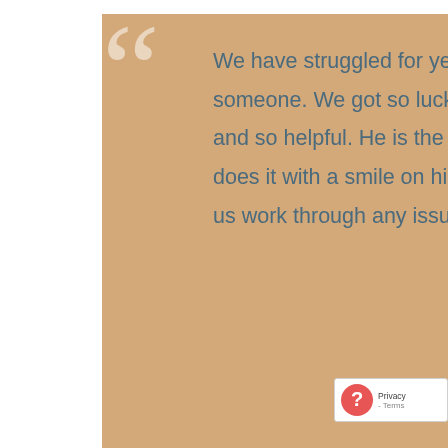[Figure (screenshot): A testimonial card with tan/beige background, large decorative quotation marks in white/semi-transparent. Quote text in slate-blue reads: 'We have struggled for years needing help here and there from someone. We got so lucky finding Luis! He is so knowledgable and so helpful. He is the easiest person to work with and he does it with a smile on his face. He responds quickly and helps us work through any issues we are experiencing.' Pagination dots at bottom with one red active dot. Below the card is a gray photo strip and a Privacy/Terms widget in the bottom-right corner.]
We have struggled for years needing help here and there from someone. We got so lucky finding Luis! He is so knowledgable and so helpful. He is the easiest person to work with and he does it with a smile on his face. He responds quickly and helps us work through any issues we are experiencing.